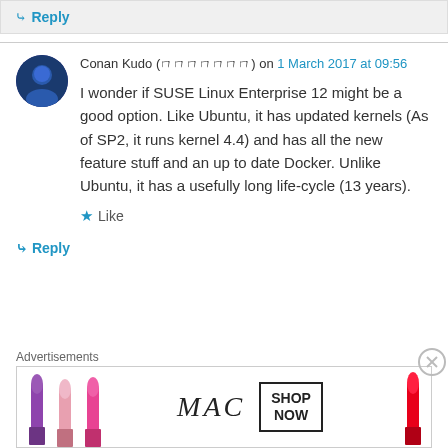↪ Reply
Conan Kudo (㇔㇔㇔㇔㇔㇔㇔) on 1 March 2017 at 09:56
I wonder if SUSE Linux Enterprise 12 might be a good option. Like Ubuntu, it has updated kernels (As of SP2, it runs kernel 4.4) and has all the new feature stuff and an up to date Docker. Unlike Ubuntu, it has a usefully long life-cycle (13 years).
★ Like
↪ Reply
Advertisements
[Figure (photo): MAC cosmetics advertisement banner showing lipsticks and text SHOP NOW]